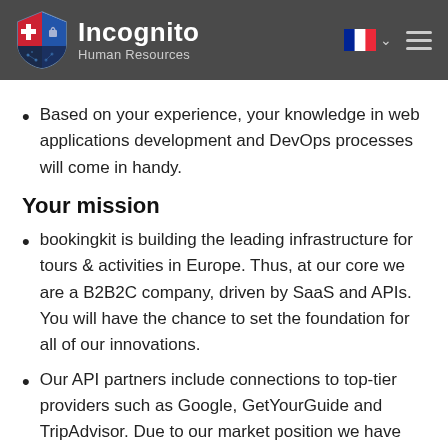[Figure (logo): Incognito Human Resources logo with shield icon, company name and subtitle on dark grey header background with French flag and hamburger menu]
Based on your experience, your knowledge in web applications development and DevOps processes will come in handy.
Your mission
bookingkit is building the leading infrastructure for tours & activities in Europe. Thus, at our core we are a B2B2C company, driven by SaaS and APIs. You will have the chance to set the foundation for all of our innovations.
Our API partners include connections to top-tier providers such as Google, GetYourGuide and TripAdvisor. Due to our market position we have the possibility to set and influence